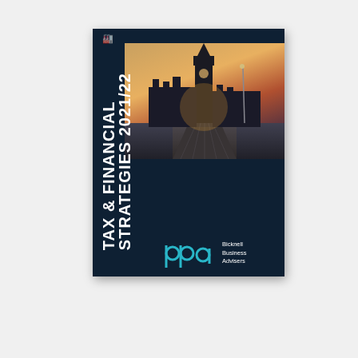[Figure (illustration): Book cover for 'Tax & Financial Strategies 2021/22' by Bicknell Business Advisers. Dark navy background with a photo of Westminster/Big Ben at sunset at the top, bold white vertical text reading 'TAX & FINANCIAL STRATEGIES 2021/22' on the left side, and the Bicknell Business Advisers logo (bba) at the bottom right.]
Chat with Bicknell Business Advise...
Hi! How can we help you?